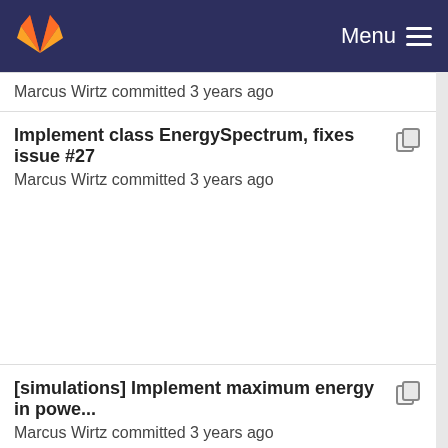GitLab — Menu
Marcus Wirtz committed 3 years ago
Implement class EnergySpectrum, fixes issue #27
Marcus Wirtz committed 3 years ago
[simulations] Implement maximum energy in powe...
Marcus Wirtz committed 3 years ago
Implement class EnergySpectrum, fixes issue #27
Marcus Wirtz committed 3 years ago
[simulations] Implement maximum energy in powe...
Marcus Wirtz committed 3 years ago
Implement class EnergySpectrum, fixes issue #27
Marcus Wirtz committed 3 years ago